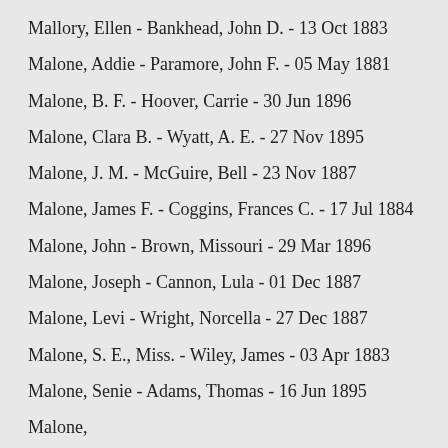Mallory, Ellen - Bankhead, John D. - 13 Oct 1883
Malone, Addie - Paramore, John F. - 05 May 1881
Malone, B. F. - Hoover, Carrie - 30 Jun 1896
Malone, Clara B. - Wyatt, A. E. - 27 Nov 1895
Malone, J. M. - McGuire, Bell - 23 Nov 1887
Malone, James F. - Coggins, Frances C. - 17 Jul 1884
Malone, John - Brown, Missouri - 29 Mar 1896
Malone, Joseph - Cannon, Lula - 01 Dec 1887
Malone, Levi - Wright, Norcella - 27 Dec 1887
Malone, S. E., Miss. - Wiley, James - 03 Apr 1883
Malone, Senie - Adams, Thomas - 16 Jun 1895
Malone, [partial - cut off]